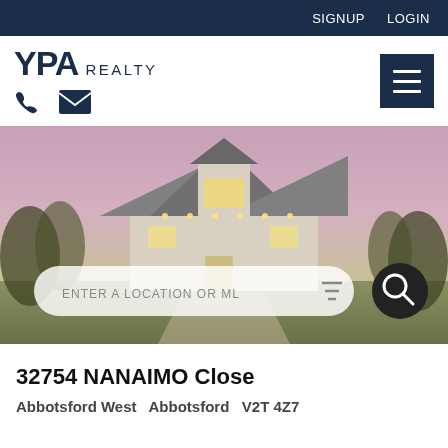SIGNUP   LOGIN
[Figure (logo): YPA Realty logo with phone and email icons, and hamburger menu button]
[Figure (photo): Hero image of a large luxury house at dusk with a search bar overlay reading ENTER A LOCATION OR ML with filter and search icons]
32754 NANAIMO Close
Abbotsford West   Abbotsford   V2T 4Z7